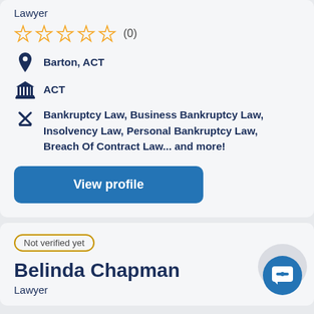Lawyer
[Figure (other): 5 empty star rating icons followed by (0) review count]
Barton, ACT
ACT
Bankruptcy Law, Business Bankruptcy Law, Insolvency Law, Personal Bankruptcy Law, Breach Of Contract Law... and more!
View profile
Not verified yet
Belinda Chapman
Lawyer